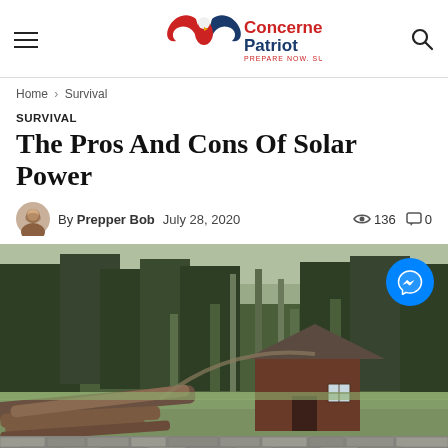ConcernedPatriot.com — PREPARE NOW, SURVIVE LATER
Home › Survival
SURVIVAL
The Pros And Cons Of Solar Power
By Prepper Bob  July 28, 2020  👁 136  💬 0
[Figure (photo): A small rustic log cabin in a forest clearing with stacked logs in the foreground and dense trees in the background.]